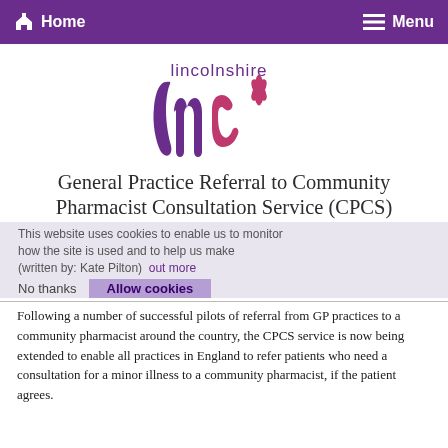Home   Menu
[Figure (logo): Lincolnshire LMC logo with stylized 'lmc' lettering in purple and pink with a fleur-de-lis motif, and 'lincolnshire' text above]
General Practice Referral to Community Pharmacist Consultation Service (CPCS)
This website uses cookies to enable us to monitor how the site is used and to help us make the site better. Find out more
(written by: Kate Pilton)
No thanks   Allow cookies
Following a number of successful pilots of referral from GP practices to a community pharmacist around the country, the CPCS service is now being extended to enable all practices in England to refer patients who need a consultation for a minor illness to a community pharmacist, if the patient agrees.